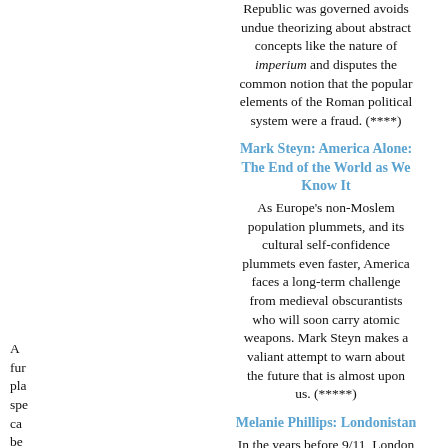Republic was governed avoids undue theorizing about abstract concepts like the nature of imperium and disputes the common notion that the popular elements of the Roman political system were a fraud. (****)
Mark Steyn: America Alone: The End of the World as We Know It
As Europe's non-Moslem population plummets, and its cultural self-confidence plummets even faster, America faces a long-term challenge from medieval obscurantists who will soon carry atomic weapons. Mark Steyn makes a valiant attempt to warn about the future that is almost upon us. (*****)
Melanie Phillips: Londonistan
In the years before 9/11, London became a center of Isalmic fascism, thanks to British officialdom's confidence that Moslem beneficiaries of the welfare state would never turn on their benefactors, whatever they might do to foreigners. The London train bombings showed up the naivete of that attitude but didn't expunge it. Melanie Phillips shows how Briti...
A fur pla spe ca be bui on tha on In wa it's ran a go ide